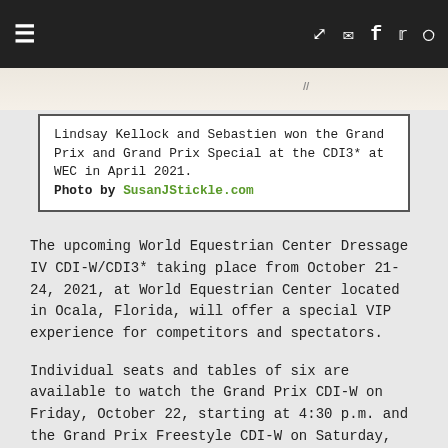≡  (share) (mail) (facebook) (twitter) (instagram)
[Figure (photo): Partial photo of a horse/rider, cut off at top — light beige background with a signature visible]
Lindsay Kellock and Sebastien won the Grand Prix and Grand Prix Special at the CDI3* at WEC in April 2021.
Photo by SusanJStickle.com
The upcoming World Equestrian Center Dressage IV CDI-W/CDI3* taking place from October 21-24, 2021, at World Equestrian Center located in Ocala, Florida, will offer a special VIP experience for competitors and spectators.
Individual seats and tables of six are available to watch the Grand Prix CDI-W on Friday, October 22, starting at 4:30 p.m. and the Grand Prix Freestyle CDI-W on Saturday, October 23, at 4:30 p.m. Competition is held in Indoor Arena 1, with VIP seating in the second-floor mezzanine suites overlooking the arena. Food and drink are available throughout the evening.